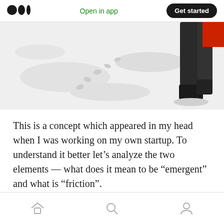Open in app | Get started
[Figure (photo): A snowy outdoor scene showing footprints in snow with a person's legs visible wearing dark pants and a red jacket, photographed from above.]
This is a concept which appeared in my head when I was working on my own startup. To understand it better let’s analyze the two elements — what does it mean to be “emergent” and what is “friction”.
Friction
Home | Search | Profile